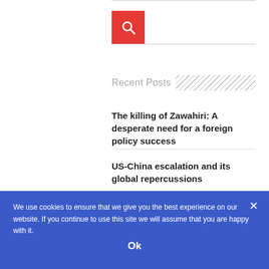[Figure (other): Red search button with magnifying glass icon]
Recent Posts
The killing of Zawahiri: A desperate need for a foreign policy success
US-China escalation and its global repercussions
Ayman Al-Zawahiri e la disperata necessità di Biden di ottenere
Forming political parties is not the only path to political reform
We use cookies to ensure that we give you the best experience on our website. If you continue to use this site we will assume that you are happy with it.
Ok